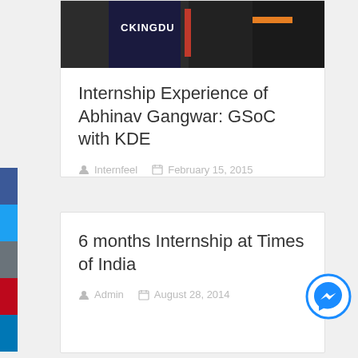[Figure (photo): Two people wearing sports jerseys, one reading CKINGDU]
Internship Experience of Abhinav Gangwar: GSoC with KDE
Internfeel   February 15, 2015
6 months Internship at Times of India
Admin   August 28, 2014
[Figure (logo): Facebook Messenger circular button icon]
Internship experience at Larsen & Toubro, IIM-A